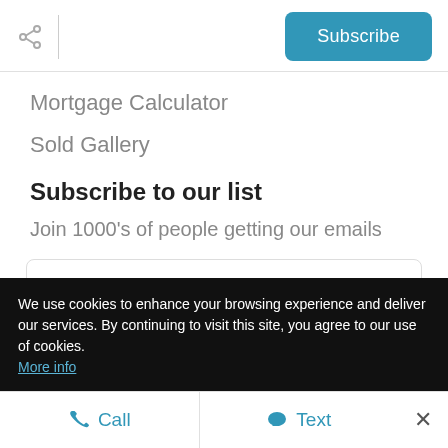Subscribe
Mortgage Calculator
Sold Gallery
Subscribe to our list
Join 1000's of people getting our emails
Enter your email
We use cookies to enhance your browsing experience and deliver our services. By continuing to visit this site, you agree to our use of cookies. More info
Call   Text